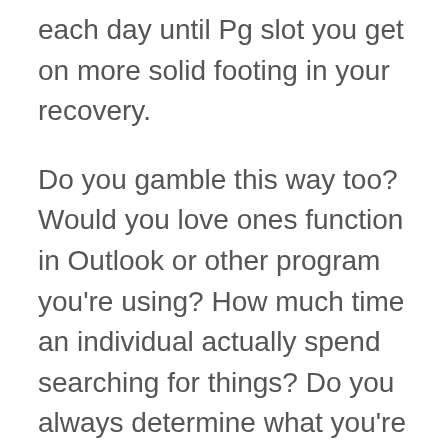each day until Pg slot you get on more solid footing in your recovery.
Do you gamble this way too? Would you love ones function in Outlook or other program you're using? How much time an individual actually spend searching for things? Do you always determine what you're hunting for? Do you ever return to those e-mails you i thought i'd read created?
It one more advisable you actually set a victory limit. the amount that will distinguish if are already satisfied on winning and ready to stop playing. There are many players who carry on playing even though they are having a winning streak. This kind of is a big mistake. Preference are